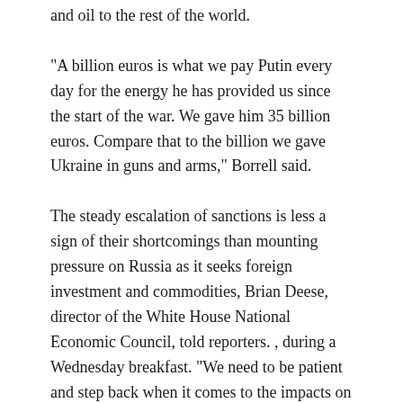and oil to the rest of the world.
“A billion euros is what we pay Putin every day for the energy he has provided us since the start of the war. We gave him 35 billion euros. Compare that to the billion we gave Ukraine in guns and arms,” Borrell said.
The steady escalation of sanctions is less a sign of their shortcomings than mounting pressure on Russia as it seeks foreign investment and commodities, Brian Deese, director of the White House National Economic Council, told reporters. , during a Wednesday breakfast. “We need to be patient and step back when it comes to the impacts on Russia of this unprecedented and crippling sanctions regime,” Deese said at the event sponsored by The Christian Science Monitor.
Deese noted that Russian inflation is 2% per week, which would push annual inflation above 200% per year. He noted that the Biden administration expects Russian prices to ultimately rise no